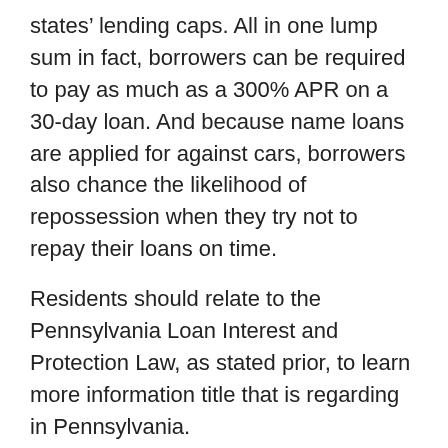states’ lending caps. All in one lump sum in fact, borrowers can be required to pay as much as a 300% APR on a 30-day loan. And because name loans are applied for against cars, borrowers also chance the likelihood of repossession when they try not to repay their loans on time.
Residents should relate to the Pennsylvania Loan Interest and Protection Law, as stated prior, to learn more information title that is regarding in Pennsylvania.
Just the after 16 states really permit title lending at triple-digit APRs: Alabama, Arizona, Delaware, Georgia, Idaho, Illinois, Mississippi, Missouri, Nevada, brand New Hampshire, New Mexico, Tennessee, Texas, Utah, Virginia, and Wisconsin. Other states have actually prohibited title lending at such rates that are high have placed prohibitions set up that restriction loan quantities